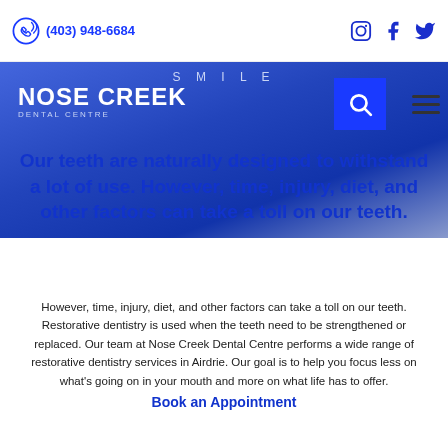(403) 948-6684
Our teeth are naturally designed to withstand a lot of use. However, time, injury, diet, and other factors can take a toll on our teeth.
However, time, injury, diet, and other factors can take a toll on our teeth. Restorative dentistry is used when the teeth need to be strengthened or replaced. Our team at Nose Creek Dental Centre performs a wide range of restorative dentistry services in Airdrie. Our goal is to help you focus less on what’s going on in your mouth and more on what life has to offer.
Book an Appointment